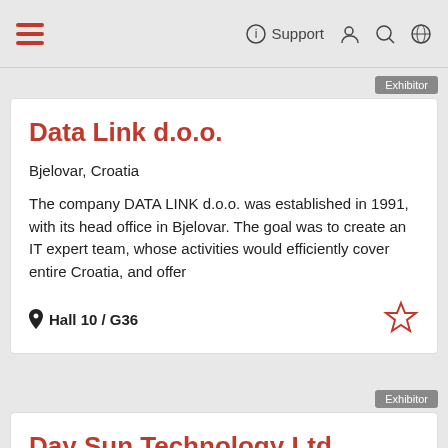Support
Exhibitor
Data Link d.o.o.
Bjelovar, Croatia
The company DATA LINK d.o.o. was established in 1991, with its head office in Bjelovar. The goal was to create an IT expert team, whose activities would efficiently cover entire Croatia, and offer
Hall 10 / G36
Exhibitor
Day Sun Technology Ltd.
Tainan City, Taiwan